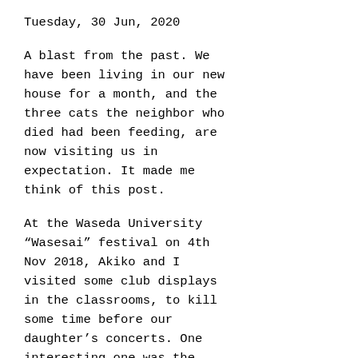Tuesday, 30 Jun, 2020
A blast from the past. We have been living in our new house for a month, and the three cats the neighbor who died had been feeding, are now visiting us in expectation. It made me think of this post.
At the Waseda University “Wasesai” festival on 4th Nov 2018, Akiko and I visited some club displays in the classrooms, to kill some time before our daughter’s concerts. One interesting one was the “Waseneko” circle. Here’s why it was cool:
Read more →